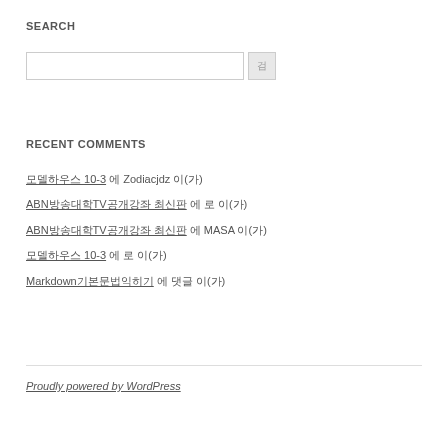SEARCH
[search input box with search button]
RECENT COMMENTS
모델하우스 10-3 에 Zodiacjdz 이(가)
ABN방송대학TV공개강좌 최신판 에 로 이(가)
ABN방송대학TV공개강좌 최신판 에 MASA 이(가)
모델하우스 10-3 에 로 이(가)
Markdown기본문법익히기 에 댓글 이(가)
Proudly powered by WordPress